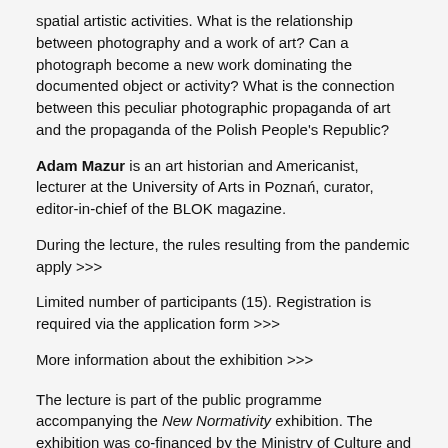spatial artistic activities. What is the relationship between photography and a work of art? Can a photograph become a new work dominating the documented object or activity? What is the connection between this peculiar photographic propaganda of art and the propaganda of the Polish People's Republic?
Adam Mazur is an art historian and Americanist, lecturer at the University of Arts in Poznań, curator, editor-in-chief of the BLOK magazine.
During the lecture, the rules resulting from the pandemic apply >>>
Limited number of participants (15). Registration is required via the application form >>>
More information about the exhibition >>>
The lecture is part of the public programme accompanying the New Normativity exhibition. The exhibition was co-financed by the Ministry of Culture and National Heritage from the Culture Promotion Fund, financed from surcharges